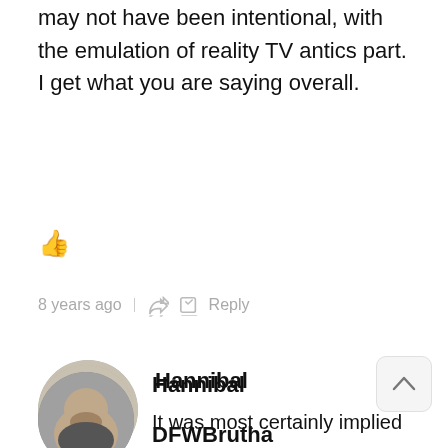may not have been intentional, with the emulation of reality TV antics part. I get what you are saying overall.
👍 (like)
8 years ago | share | edit | Reply
[Figure (photo): Circular avatar of a small dog (Chihuahua mix) with brown and white fur, appears to be on a TV broadcast with a lower-third graphic visible]
Hannibal
It was most certainly implied
👍 (like)
8 years ago | share | edit
[Figure (photo): Circular avatar of a man with beard, partial face visible, appears outdoors]
DFWBrutha